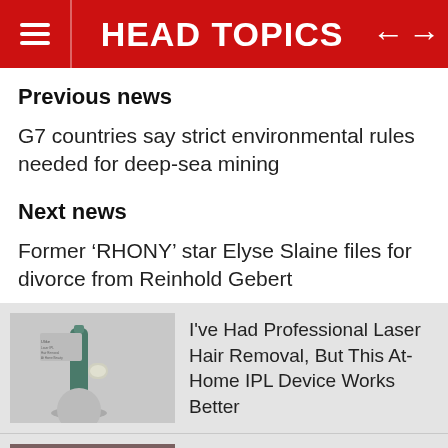HEAD TOPICS
Previous news
G7 countries say strict environmental rules needed for deep-sea mining
Next news
Former ‘RHONY’ star Elyse Slaine files for divorce from Reinhold Gebert
I’ve Had Professional Laser Hair Removal, But This At-Home IPL Device Works Better
In Defense of Texas Wines, Plus a Hill Country Wine Passport